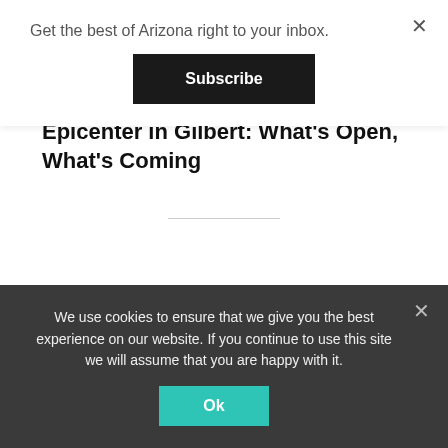Get the best of Arizona right to your inbox.
Subscribe
Epicenter in Gilbert: What's Open, What's Coming
Upcoming Events
There are no upcoming events.
We use cookies to ensure that we give you the best experience on our website. If you continue to use this site we will assume that you are happy with it.
Ok